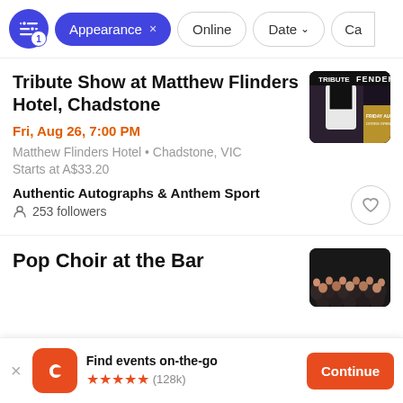Appearance × | Online | Date ↓ | Ca…
Tribute Show at Matthew Flinders Hotel, Chadstone
Fri, Aug 26, 7:00 PM
Matthew Flinders Hotel • Chadstone, VIC
Starts at A$33.20
Authentic Autographs & Anthem Sport
253 followers
[Figure (photo): Boxing/tribute show promotional image with person in black and white jersey, text overlay with FRIDAY]
Pop Choir at the Bar
[Figure (photo): Crowd of people at a bar/event venue, dark lighting]
Find events on-the-go ★★★★★ (128k)
Continue